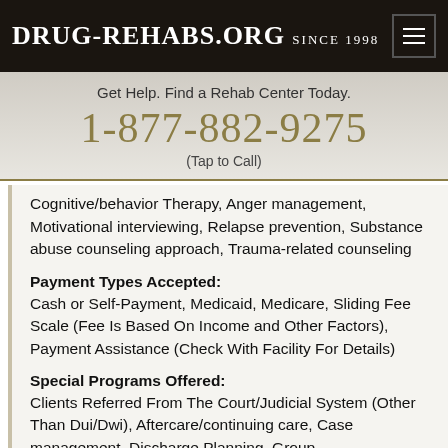DRUG-REHABS.ORG SINCE 1998
Get Help. Find a Rehab Center Today.
1-877-882-9275
(Tap to Call)
Cognitive/behavior Therapy, Anger management, Motivational interviewing, Relapse prevention, Substance abuse counseling approach, Trauma-related counseling
Payment Types Accepted:
Cash or Self-Payment, Medicaid, Medicare, Sliding Fee Scale (Fee Is Based On Income and Other Factors), Payment Assistance (Check With Facility For Details)
Special Programs Offered:
Clients Referred From The Court/Judicial System (Other Than Dui/Dwi), Aftercare/continuing care, Case management, Discharge Planning, Group